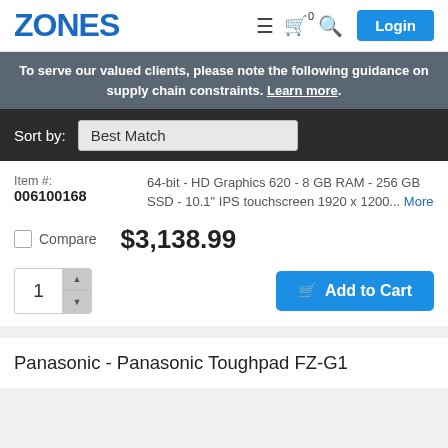ZONES
To serve our valued clients, please note the following guidance on supply chain constraints. Learn more.
Sort by: Best Match
64-bit - HD Graphics 620 - 8 GB RAM - 256 GB SSD - 10.1" IPS touchscreen 1920 x 1200... More
Item #: 006100168
$3,138.99
Compare
Add to Cart
Panasonic - Panasonic Toughpad FZ-G1